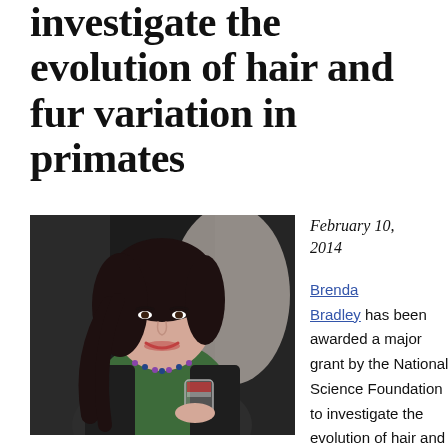investigate the evolution of hair and fur variation in primates
[Figure (photo): Photo of Brenda Bradley, a woman with dark hair, smiling and holding a glass, wearing a green top, black cardigan, and beaded necklace]
February 10, 2014
Brenda Bradley has been awarded a major grant by the National Science Foundation to investigate the evolution of hair and fur variation